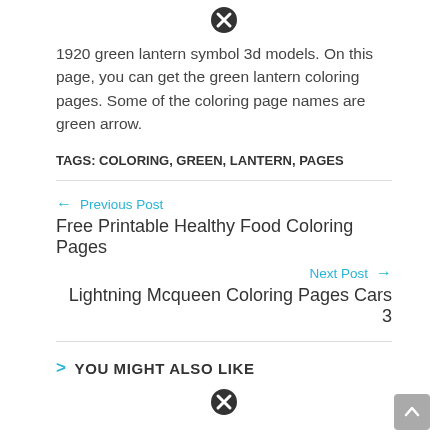[Figure (other): Close/error icon (circle with X) at top center]
1920 green lantern symbol 3d models. On this page, you can get the green lantern coloring pages. Some of the coloring page names are green arrow.
TAGS: COLORING, GREEN, LANTERN, PAGES
← Previous Post
Free Printable Healthy Food Coloring Pages
Next Post →
Lightning Mcqueen Coloring Pages Cars 3
> YOU MIGHT ALSO LIKE
[Figure (other): Close/error icon (circle with X) at bottom center]